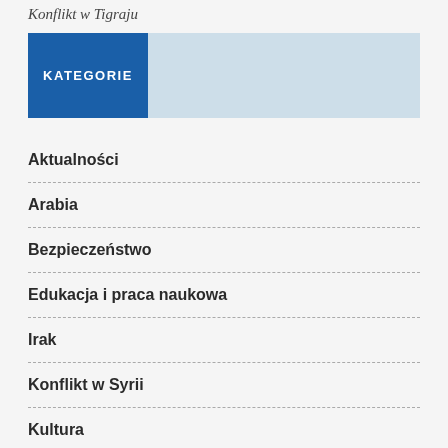Konflikt w Tigraju
KATEGORIE
Aktualności
Arabia
Bezpieczeństwo
Edukacja i praca naukowa
Irak
Konflikt w Syrii
Kultura